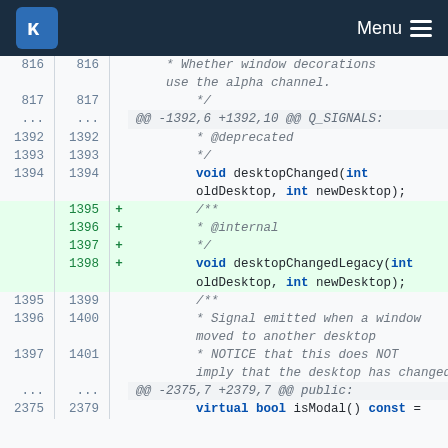KDE Menu
816  816    * Whether window decorations use the alpha channel.
817  817    */
...  ...  @@ -1392,6 +1392,10 @@ Q_SIGNALS:
1392  1392    * @deprecated
1393  1393    */
1394  1394   void desktopChanged(int oldDesktop, int newDesktop);
1395  +  /**
1396  +  * @internal
1397  +  */
1398  +  void desktopChangedLegacy(int oldDesktop, int newDesktop);
1395  1399    /**
1396  1400    * Signal emitted when a window moved to another desktop
1397  1401    * NOTICE that this does NOT imply that the desktop has changed
...  ...  @@ -2375,7 +2379,7 @@ public:
2375  2379   virtual bool isModal() const =